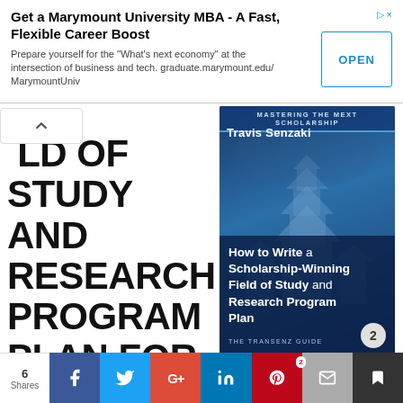Get a Marymount University MBA - A Fast, Flexible Career Boost
Prepare yourself for the "What's next economy" at the intersection of business and tech. graduate.marymount.edu/ MarymountUniv
FIELD OF STUDY AND RESEARCH PROGRAM PLAN FOR THE UNIVERSITY-
[Figure (illustration): Book cover for 'Mastering the MEXT Scholarship' by Travis Senzaki. Shows a Japanese castle (Kumamoto Castle) with a dark blue overlay. Title text: 'How to Write a Scholarship-Winning Field of Study and Research Program Plan'. Subtitle: THE TRANSENZ GUIDE. Number 2 in a circle at the bottom right.]
Need help with your Fie
6 Shares